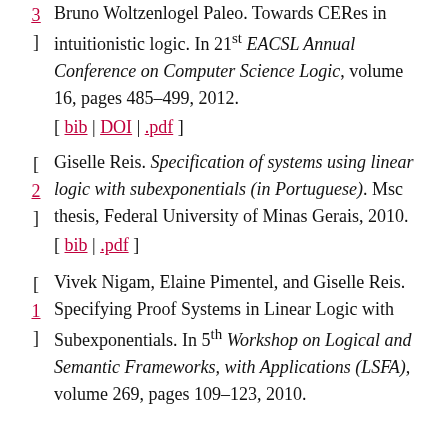Bruno Woltzenlogel Paleo. Towards CERs in intuitionistic logic. In 21st EACSL Annual Conference on Computer Science Logic, volume 16, pages 485–499, 2012. [ bib | DOI | .pdf ]
Giselle Reis. Specification of systems using linear logic with subexponentials (in Portuguese). Msc thesis, Federal University of Minas Gerais, 2010. [ bib | .pdf ]
Vivek Nigam, Elaine Pimentel, and Giselle Reis. Specifying Proof Systems in Linear Logic with Subexponentials. In 5th Workshop on Logical and Semantic Frameworks, with Applications (LSFA), volume 269, pages 109–123, 2010.